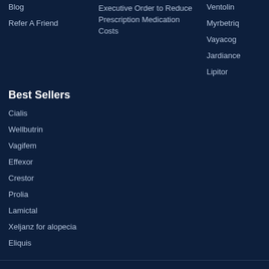Blog
Refer A Friend
Executive Order to Reduce Prescription Medication Costs
Ventolin
Myrbetriq
Vayacog
Jardiance
Lipitor
Best Sellers
Cialis
Wellbutrin
Vagifem
Effexor
Crestor
Prolia
Lamictal
Xeljanz for alopecia
Eliquis
© All rights reserved
Sitemap | 2007-2023 | | Co. Ltd.